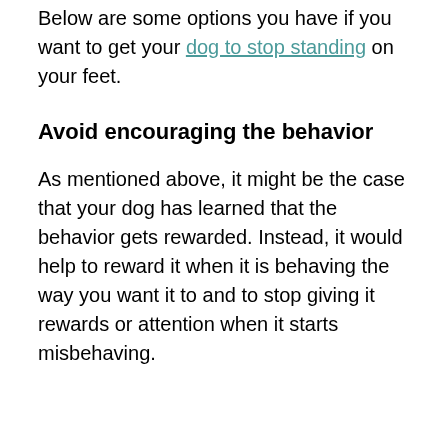Below are some options you have if you want to get your dog to stop standing on your feet.
Avoid encouraging the behavior
As mentioned above, it might be the case that your dog has learned that the behavior gets rewarded. Instead, it would help to reward it when it is behaving the way you want it to and to stop giving it rewards or attention when it starts misbehaving.